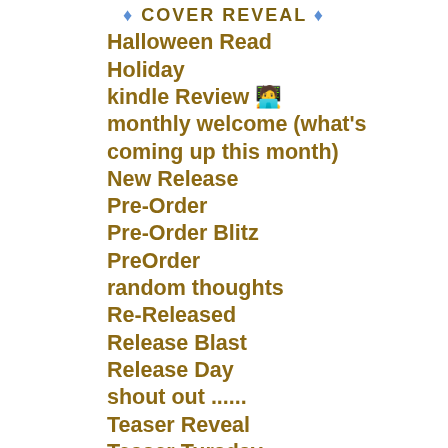♦ COVER REVEAL ♦
Halloween Read
Holiday
kindle Review 👩‍💻
monthly welcome (what's coming up this month)
New Release
Pre-Order
Pre-Order Blitz
PreOrder
random thoughts
Re-Released
Release Blast
Release Day
shout out ……
Teaser Reveal
Teaser Tursday